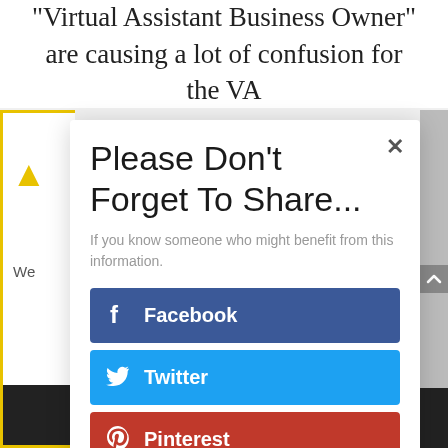"Virtual Assistant Business Owner" are causing a lot of confusion for the VA
Please Don't Forget To Share...
If you know someone who might benefit from this information.
Facebook
Twitter
Pinterest
Print Friendly
LinkedIn